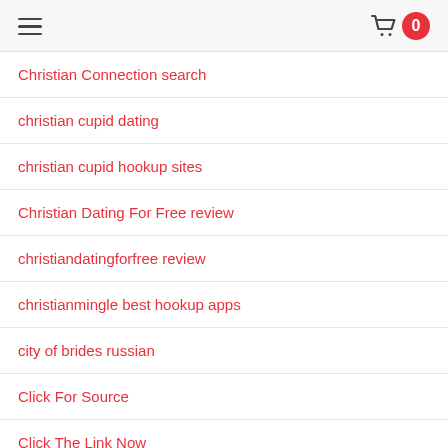hamburger menu | cart 0
Christian Connection search
christian cupid dating
christian cupid hookup sites
Christian Dating For Free review
christiandatingforfree review
christianmingle best hookup apps
city of brides russian
Click For Source
Click The Link Now
clover dating reddit
clover dating review